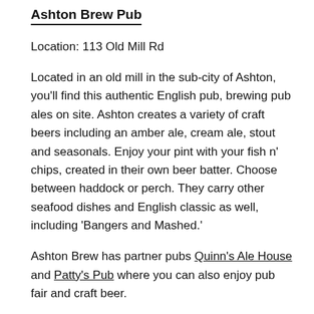Ashton Brew Pub
Location: 113 Old Mill Rd
Located in an old mill in the sub-city of Ashton, you'll find this authentic English pub, brewing pub ales on site. Ashton creates a variety of craft beers including an amber ale, cream ale, stout and seasonals. Enjoy your pint with your fish n' chips, created in their own beer batter. Choose between haddock or perch. They carry other seafood dishes and English classic as well, including 'Bangers and Mashed.'
Ashton Brew has partner pubs Quinn's Ale House and Patty's Pub where you can also enjoy pub fair and craft beer.